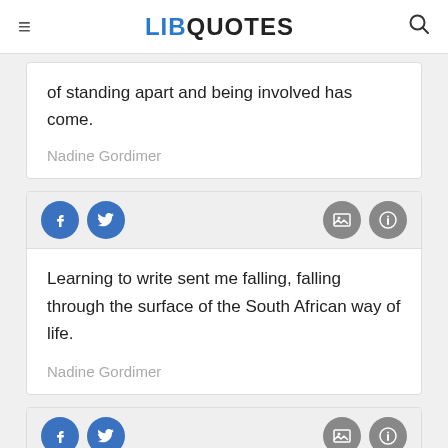LIBQUOTES
of standing apart and being involved has come.
Nadine Gordimer
Learning to write sent me falling, falling through the surface of the South African way of life.
Nadine Gordimer